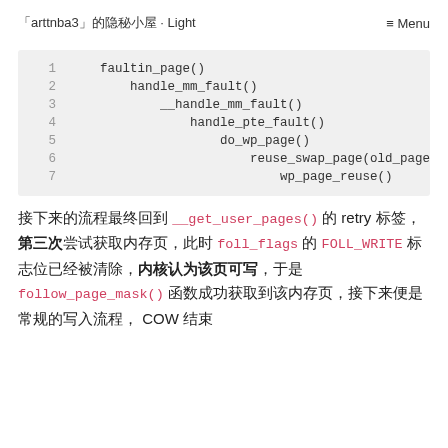「arttnba3」的隐秘小屋 · Light    ≡ Menu
[Figure (screenshot): Code block showing a call stack with 7 lines: faultin_page(), handle_mm_fault(), __handle_mm_fault(), handle_pte_fault(), do_wp_page(), reuse_swap_page(old_page, wp_page_reuse()]
接下来的流程最终回到 __get_user_pages() 的 retry 标签，第三次尝试获取内存页，此时 foll_flags 的 FOLL_WRITE 标志位已经被清除，内核认为该页可写，于是 follow_page_mask() 函数成功获取到该内存页，接下来便是常规的写入流程，COW 结束